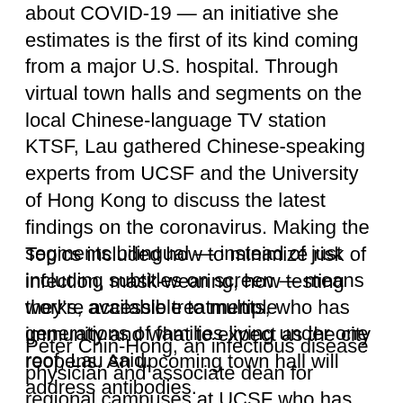about COVID-19 — an initiative she estimates is the first of its kind coming from a major U.S. hospital. Through virtual town halls and segments on the local Chinese-language TV station KTSF, Lau gathered Chinese-speaking experts from UCSF and the University of Hong Kong to discuss the latest findings on the coronavirus. Making the segments bilingual — instead of just including subtitles on screen — means they're accessible to multiple generations of families living under one roof, Lau said.
Topics included how to minimize risk of infection, mask-wearing, how testing works, available treatments, who has immunity and what to expect as the city reopens. An upcoming town hall will address antibodies.
Peter Chin-Hong, an infectious disease physician and associate dean for regional campuses at UCSF who has appeared in many of the town halls and TV segments, said experts also addressed issues of specific interest